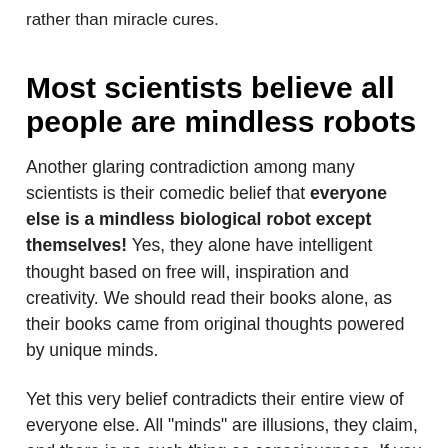rather than miracle cures.
Most scientists believe all people are mindless robots
Another glaring contradiction among many scientists is their comedic belief that everyone else is a mindless biological robot except themselves! Yes, they alone have intelligent thought based on free will, inspiration and creativity. We should read their books alone, as their books came from original thoughts powered by unique minds.
Yet this very belief contradicts their entire view of everyone else. All "minds" are illusions, they claim, and there is no such thing as consciousness. If you believe what they say, then all the books written by Dawkins, Hawking or other devout Scientism worshippers are, according to their own